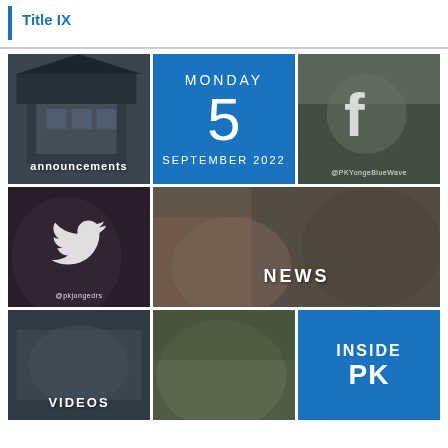Title IX
[Figure (photo): School building exterior photo with 'announcements' label overlay]
[Figure (infographic): Blue calendar tile showing MONDAY 5 SEPTEMBER 2022]
[Figure (photo): Classroom photo with Facebook icon and @PKYongeBlueWave handle]
[Figure (photo): Dark photo with Twitter bird icon and @pkjongedrs handle]
[Figure (photo): Students working on robotics/electronics with NEWS label overlay]
[Figure (photo): Students in classroom with VIDEOS label overlay]
[Figure (photo): Students at table photo]
[Figure (infographic): Blue tile with INSIDE PK text]